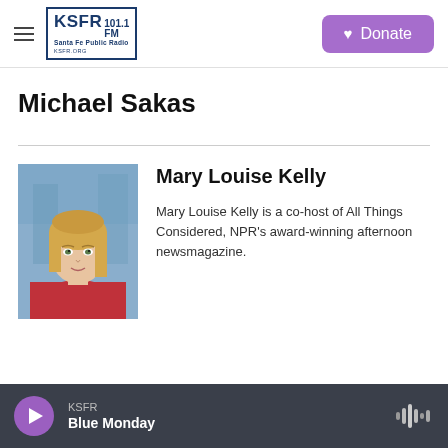KSFR 101.1 FM Santa Fe Public Radio | Donate
Michael Sakas
[Figure (photo): Portrait photo of Mary Louise Kelly, a woman with blonde hair wearing a red top, against a blurred blue background]
Mary Louise Kelly
Mary Louise Kelly is a co-host of All Things Considered, NPR's award-winning afternoon newsmagazine.
KSFR · Blue Monday